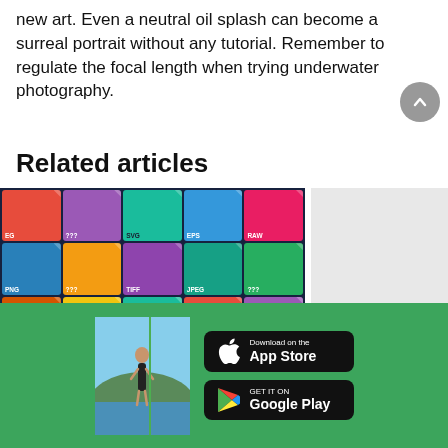new art. Even a neutral oil splash can become a surreal portrait without any tutorial. Remember to regulate the focal length when trying underwater photography.
Related articles
[Figure (illustration): Colorful grid of file format icons (EPS, RAW, JPEG, SVG, PNG, TIFF, PSD, GIF, ???, etc.) on a dark background representing related article thumbnail]
[Figure (photo): Gray placeholder rectangle for second related article thumbnail]
[Figure (photo): Photo of a person in a bikini standing outdoors, shown in the green footer area]
[Figure (other): Download on the App Store button]
[Figure (other): GET IT ON Google Play button]